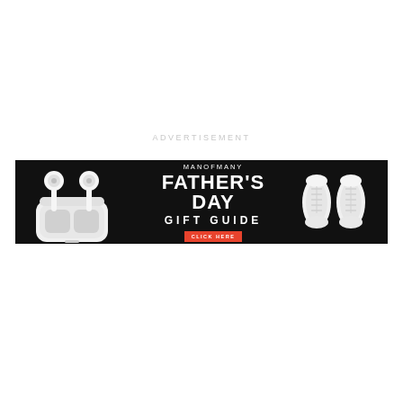ADVERTISEMENT
[Figure (infographic): Man of Many Father's Day Gift Guide advertisement banner on black background. Left side shows white AirPods Pro with charging case. Center shows brand name MANOFMANY, large text FATHER'S DAY, GIFT GUIDE, and a red CLICK HERE button. Right side shows pair of white sneakers viewed from above.]